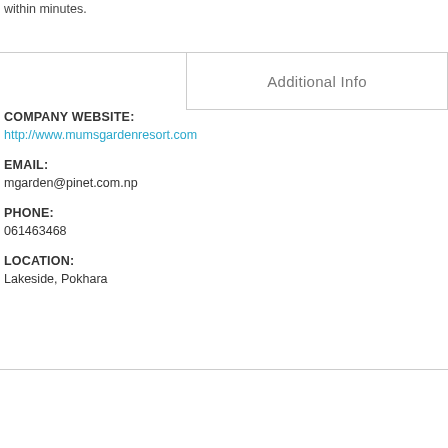within minutes.
Additional Info
COMPANY WEBSITE:
http://www.mumsgardenresort.com
EMAIL:
mgarden@pinet.com.np
PHONE:
061463468
LOCATION:
Lakeside, Pokhara